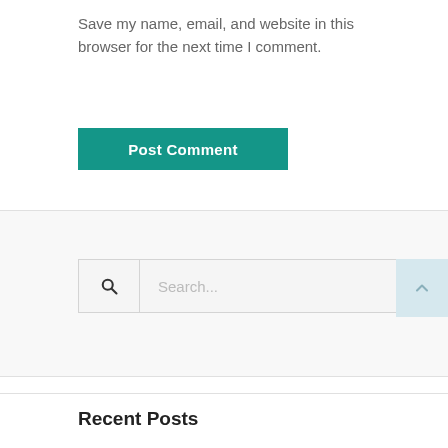Save my name, email, and website in this browser for the next time I comment.
Post Comment
[Figure (other): Search bar with magnifying glass icon and placeholder text 'Search...']
Recent Posts